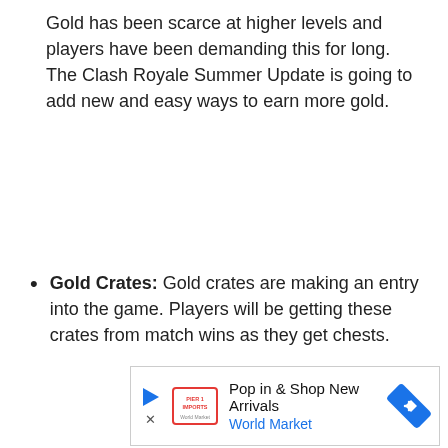Gold has been scarce at higher levels and players have been demanding this for long. The Clash Royale Summer Update is going to add new and easy ways to earn more gold.
Gold Crates: Gold crates are making an entry into the game. Players will be getting these crates from match wins as they get chests.
[Figure (other): Advertisement banner for World Market: 'Pop in & Shop New Arrivals' with a play button, World Market logo text, and a blue diamond-shaped navigation icon.]